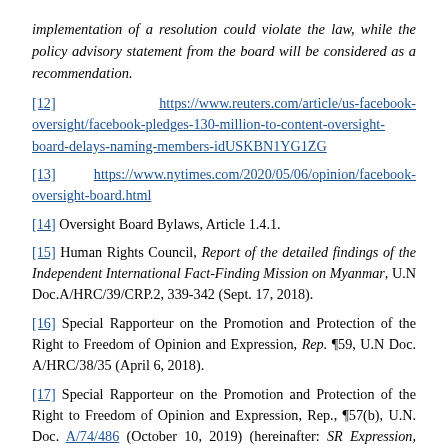implementation of a resolution could violate the law, while the policy advisory statement from the board will be considered as a recommendation.
[12] https://www.reuters.com/article/us-facebook-oversight/facebook-pledges-130-million-to-content-oversight-board-delays-naming-members-idUSKBN1YG1ZG
[13] https://www.nytimes.com/2020/05/06/opinion/facebook-oversight-board.html
[14] Oversight Board Bylaws, Article 1.4.1.
[15] Human Rights Council, Report of the detailed findings of the Independent International Fact-Finding Mission on Myanmar, U.N Doc.A/HRC/39/CRP.2, 339-342 (Sept. 17, 2018).
[16] Special Rapporteur on the Promotion and Protection of the Right to Freedom of Opinion and Expression, Rep. ¶59, U.N Doc. A/HRC/38/35 (April 6, 2018).
[17] Special Rapporteur on the Promotion and Protection of the Right to Freedom of Opinion and Expression, Rep., ¶57(b), U.N. Doc. A/74/486 (October 10, 2019) (hereinafter: SR Expression, 2019